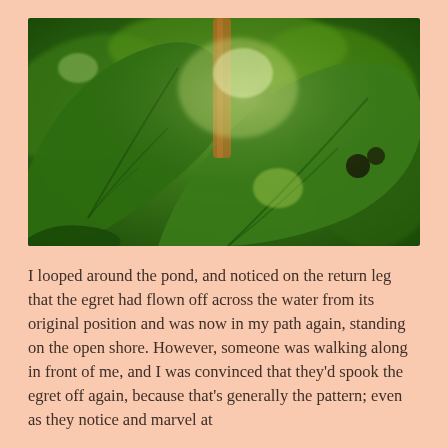[Figure (photo): Close-up photograph of large tropical leaves (resembling monstera or taro) in lush green, with bright sunlight filtering through the canopy. An orange/tan plant stem is visible in the upper right. Background is blurred green foliage with bright highlights.]
I looped around the pond, and noticed on the return leg that the egret had flown off across the water from its original position and was now in my path again, standing on the open shore. However, someone was walking along in front of me, and I was convinced that they'd spook the egret off again, because that's generally the pattern; even as they notice and marvel at